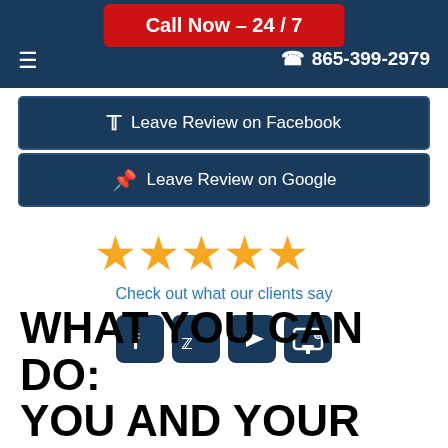Call Now – 24 / 7  865-399-2979
Leave Review on Facebook
Leave Review on Google
[Figure (other): Five gold star rating icons]
Check out what our clients say
[Figure (other): Social media icons: Facebook, Twitter, YouTube, Google]
WHAT YOU CAN DO: YOU AND YOUR